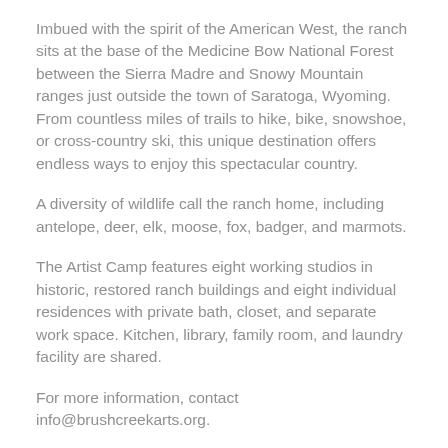Imbued with the spirit of the American West, the ranch sits at the base of the Medicine Bow National Forest between the Sierra Madre and Snowy Mountain ranges just outside the town of Saratoga, Wyoming. From countless miles of trails to hike, bike, snowshoe, or cross-country ski, this unique destination offers endless ways to enjoy this spectacular country.
A diversity of wildlife call the ranch home, including antelope, deer, elk, moose, fox, badger, and marmots.
The Artist Camp features eight working studios in historic, restored ranch buildings and eight individual residences with private bath, closet, and separate work space. Kitchen, library, family room, and laundry facility are shared.
For more information, contact info@brushcreekarts.org.
Previous call for artists from Brush Creek